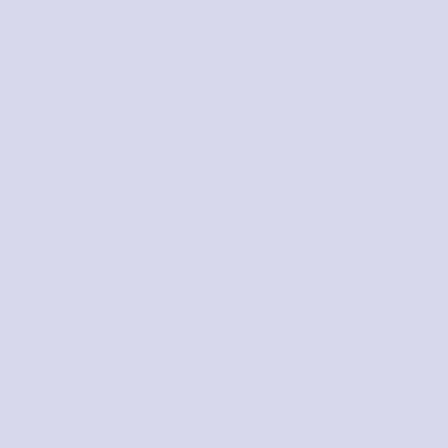8x10 and smaller, Bannerman I..., Acrylic Paintings, Hudson River P..., Air--painted on ...
Overlooking the Hu...
Posted by Jamie on May 23rd, 2008...
[Figure (photo): Landscape painting showing a river scene with hills, castle ruins (possibly Bannerman Castle on the Hudson River), water, and colorful foreground vegetation. Oil on canvas painting depicting a panoramic Hudson River valley view.]
12x16", Oils on canvas covered b...